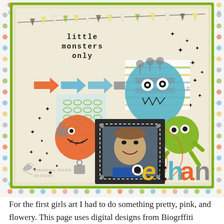[Figure (illustration): Digital scrapbook layout titled 'little monsters only' featuring a child's photo in a dark frame surrounded by cartoon monster illustrations, arrow decorations, bunting banners, star doodles, orange circular swirls, and the name 'ethan' in large colorful letters. Watermark reads 'BIRDWING PAPER DESIGNS'. Background has colorful polka dot border.]
For the first girls art I had to do something pretty, pink, and flowery. This page uses digital designs from Biogrffiti